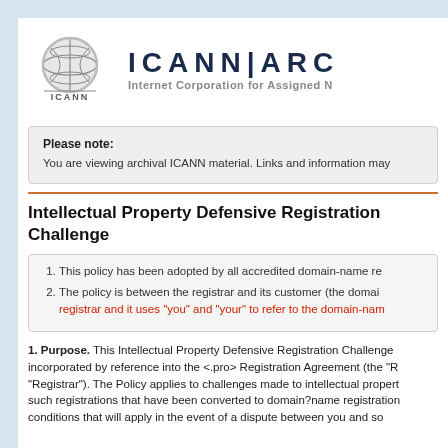ICANN|ARC — Internet Corporation for Assigned Names
Please note: You are viewing archival ICANN material. Links and information may
Intellectual Property Defensive Registration Challenge
1. This policy has been adopted by all accredited domain-name re
2. The policy is between the registrar and its customer (the domain — registrar and it uses "you" and "your" to refer to the domain-nam
1. Purpose. This Intellectual Property Defensive Registration Challenge incorporated by reference into the <.pro> Registration Agreement (the "R "Registrar"). The Policy applies to challenges made to intellectual propert such registrations that have been converted to domain?name registration conditions that will apply in the event of a dispute between you and so